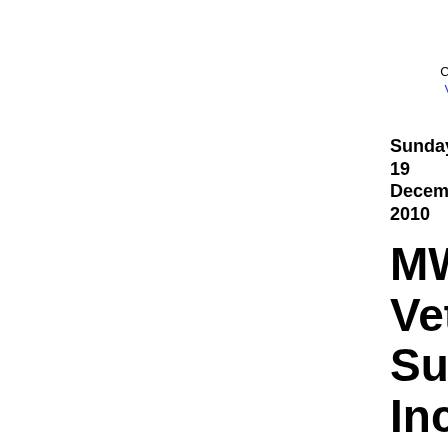Posted by bobsadviceforsto at 7:24 PM CST | Post Comment | View Comments (1) | Permalink
Sunday, 19 December 2010
MWI Veterinary Supply, Inc. (MWIV)
Hello Friends! Thanks